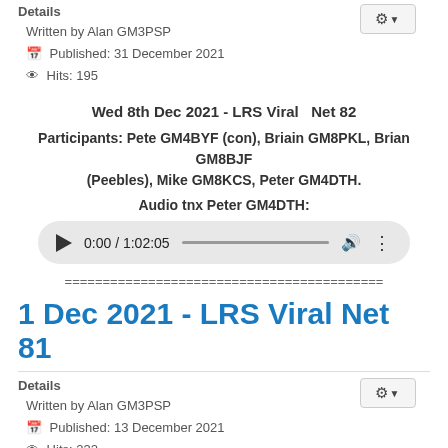Details
Written by Alan GM3PSP
Published: 31 December 2021
Hits: 195
Wed 8th Dec 2021 - LRS Viral  Net 82
Participants: Pete GM4BYF (con), Briain GM8PKL, Brian GM8BJF (Peebles), Mike GM8KCS, Peter GM4DTH.
Audio tnx Peter GM4DTH:
[Figure (other): Audio player showing 0:00 / 1:02:05]
==========================================
1 Dec 2021 - LRS Viral Net 81
Details
Written by Alan GM3PSP
Published: 13 December 2021
Hits: 232
1 Dec 2021 - LRS Viral Net 81